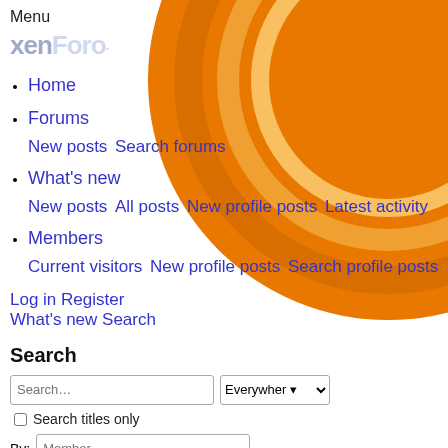Menu
[Figure (logo): XenForo logo in light blue/gray text on orange background]
Home
Forums
New posts  Search forums
What's new
New posts  All posts  New profile posts  Latest activity
Members
Current visitors  New profile posts  Search profile posts
Log in  Register
What's new  Search
Search
Search... [Everywhere dropdown] Search titles only By: [Member] Search  Advanced search...
Location
Chelsea, NYC